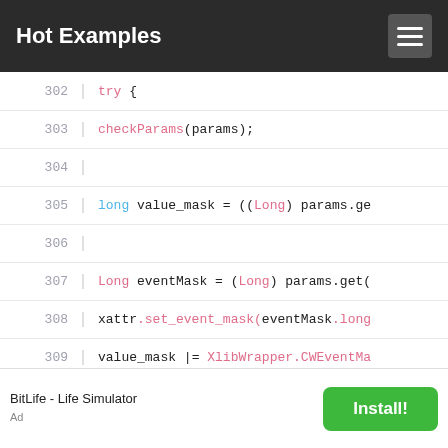Hot Examples
[Figure (screenshot): Code viewer showing Java/similar code lines 303-318 with syntax highlighting]
BitLife - Life Simulator  Install!
Ad